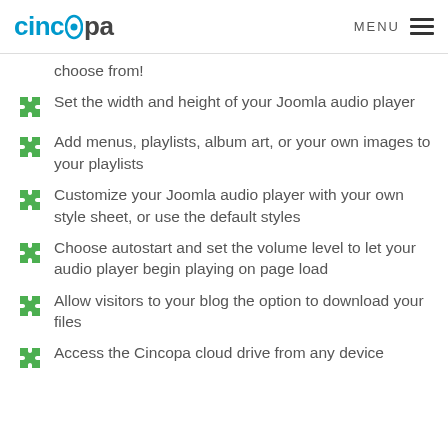cincopa  MENU
choose from!
Set the width and height of your Joomla audio player
Add menus, playlists, album art, or your own images to your playlists
Customize your Joomla audio player with your own style sheet, or use the default styles
Choose autostart and set the volume level to let your audio player begin playing on page load
Allow visitors to your blog the option to download your files
Access the Cincopa cloud drive from any device